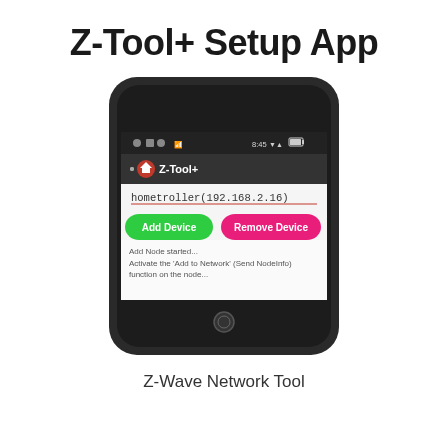Z-Tool+ Setup App
[Figure (screenshot): Screenshot of Z-Tool+ Android app on a smartphone showing the hometroller(192.168.2.16) connection, Add Device (green button) and Remove Device (pink button), with text 'Add Node started... Activate the Add to Network (Send NodeInfo) function on the node...']
Z-Wave Network Tool